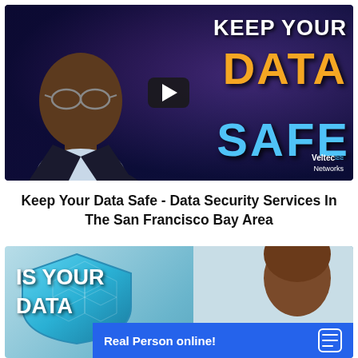[Figure (screenshot): Video thumbnail showing a man in a suit against a dark purple/blue tech background with text 'KEEP YOUR DATA SAFE' in white/orange/blue and Veltec Networks logo, with a play button overlay]
Keep Your Data Safe - Data Security Services In The San Francisco Bay Area
[Figure (screenshot): Second video thumbnail showing a teal shield graphic with 'IS YOUR DATA' text in white, a person's head visible on the right, and a blue chat bar at bottom reading 'Real Person online!']